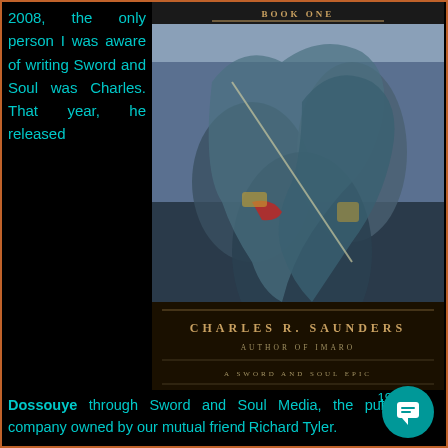2008, the only person I was aware of writing Sword and Soul was Charles. That year, he released
[Figure (illustration): Book cover of 'Dossouye' by Charles R. Saunders, Author of Imaro — A Sword and Soul Epic, Book One. Shows fantasy warrior figures in combat on the cover art.]
Dossouye through Sword and Soul Media, the publishing company owned by our mutual friend Richard Tyler.
19